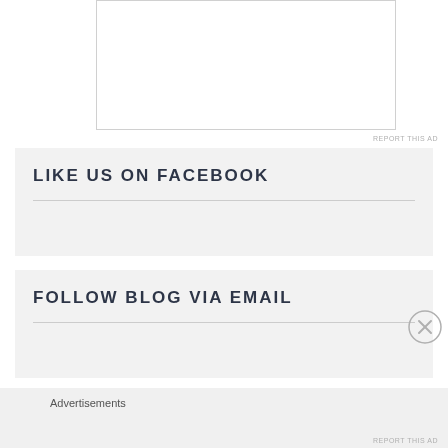[Figure (other): Advertisement box with border, mostly white/empty content area]
REPORT THIS AD
LIKE US ON FACEBOOK
FOLLOW BLOG VIA EMAIL
Advertisements